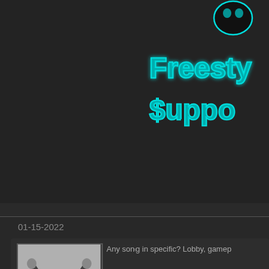[Figure (logo): Freestyle Support website logo with teal/cyan graffiti-style text reading 'Freesty... Suppo...' with skull icon, partially cropped, on dark background]
01-15-2022
[Figure (photo): Black and white photo of a person with arms raised in a V/victory pose outdoors]
Any song in specific? Lobby, gamep
0
StephanM